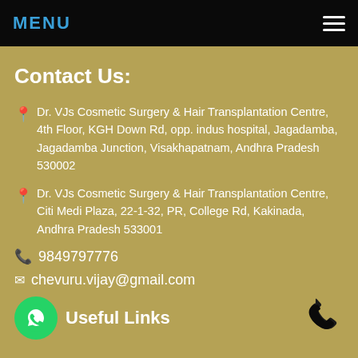MENU
Contact Us:
Dr. VJs Cosmetic Surgery & Hair Transplantation Centre, 4th Floor, KGH Down Rd, opp. indus hospital, Jagadamba, Jagadamba Junction, Visakhapatnam, Andhra Pradesh 530002
Dr. VJs Cosmetic Surgery & Hair Transplantation Centre, Citi Medi Plaza, 22-1-32, PR, College Rd, Kakinada, Andhra Pradesh 533001
9849797776
chevuru.vijay@gmail.com
Useful Links